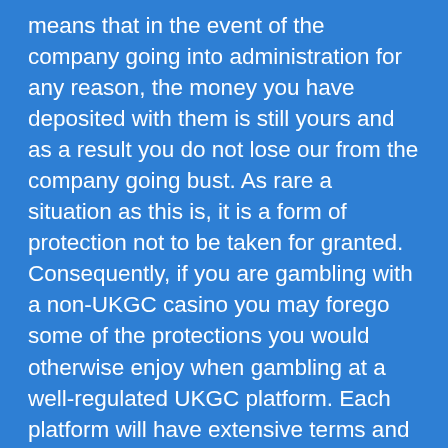means that in the event of the company going into administration for any reason, the money you have deposited with them is still yours and as a result you do not lose our from the company going bust. As rare a situation as this is, it is a form of protection not to be taken for granted. Consequently, if you are gambling with a non-UKGC casino you may forego some of the protections you would otherwise enjoy when gambling at a well-regulated UKGC platform. Each platform will have extensive terms and conditions so if you want to be aware of the specific ways in which you are (or are not) protected then these are worth consulting.  As a rule of thumb the most reliable and well-regulated online casino sites which are not covered by the UKGC are ones which fall under the jurisdictions of either the Malta Gaming Authority (MGA) or the Gibraltar Betting and Gaming Association (GBGA).  If you are starting from scratch in trying to find an online casino which accepts credit cards,